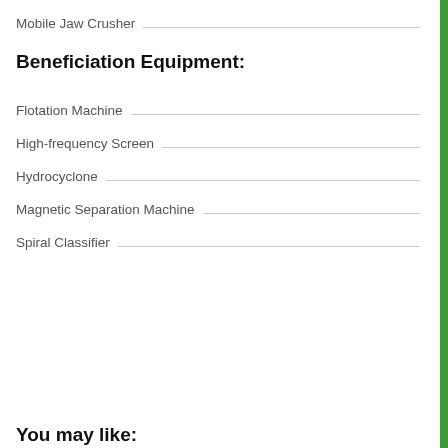Mobile Jaw Crusher
Beneficiation Equipment:
Flotation Machine
High-frequency Screen
Hydrocyclone
Magnetic Separation Machine
Spiral Classifier
You may like: